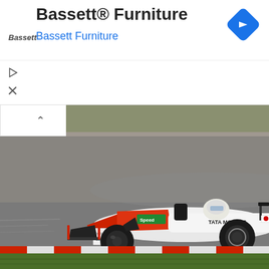[Figure (screenshot): Advertisement banner for Bassett Furniture showing logo, brand name, subtitle, navigation icon, and ad controls (play and close buttons)]
[Figure (photo): Formula 1 racing car with Tata Motors and Speed livery on a race track, partial view showing grass and track background at top]
[Figure (photo): Formula 1 racing car with red, white, and black livery showing Tata Motors sponsorship and 'YOUR LOGO' placeholder, racing on track with asphalt background]
[Figure (photo): Bottom strip of racing track showing red and white curb markings and green grass]